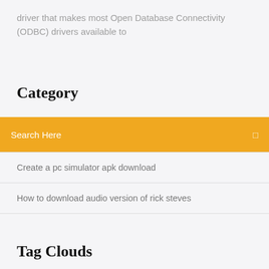driver that makes most Open Database Connectivity (ODBC) drivers available to
Category
Search Here
Create a pc simulator apk download
How to download audio version of rick steves
Tag Clouds